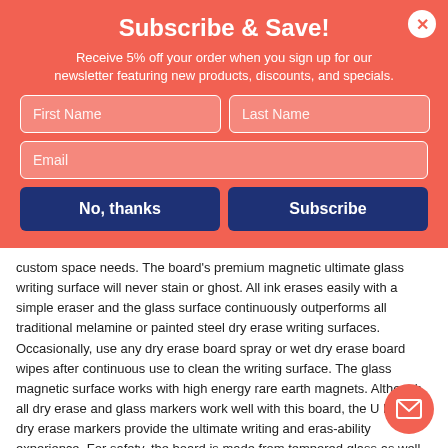Subscribe & Save!
Receive 5% off your order when you sign up for our newsletter featuring new products, discounts, and specials.
First Name | Last Name | Email (form fields)
No, thanks | Subscribe (buttons)
custom space needs. The board's premium magnetic ultimate glass writing surface will never stain or ghost. All ink erases easily with a simple eraser and the glass surface continuously outperforms all traditional melamine or painted steel dry erase writing surfaces. Occasionally, use any dry erase board spray or wet dry erase board wipes after continuous use to clean the writing surface. The glass magnetic surface works with high energy rare earth magnets. Although all dry erase and glass markers work well with this board, the U Brands dry erase markers provide the ultimate writing and eras-ability experience. For safety, the board is made from tempered glass as well. This whiteboard board has a universal mounting system, as it can be hung vertically or horizontally to fit your allocated space. All wall hanging hardware is hidden under the mounting bolts for a sleek and modern appearance. Mounting hardware and instructions are included